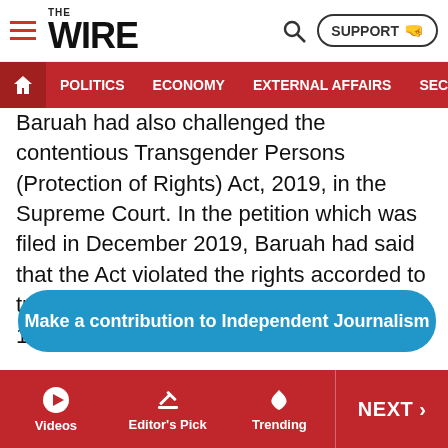THE WIRE — POLITICS | ECONOMY | EXTERNAL AFFAIRS | SECU...
Baruah had also challenged the contentious Transgender Persons (Protection of Rights) Act, 2019, in the Supreme Court. In the petition which was filed in December 2019, Baruah had said that the Act violated the rights accorded to transgender persons under Articles 14, 15, 16, 19 and 21 of the constitution.
Make a contribution to Independent Journalism
Videos | Editor's Pick | Trending | NEXT >